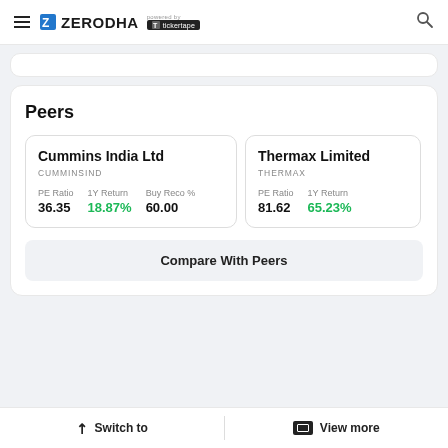ZERODHA powered by tickertape
Peers
|  | PE Ratio | 1Y Return | Buy Reco % |
| --- | --- | --- | --- |
| Cummins India Ltd (CUMMINSIND) | 36.35 | 18.87% | 60.00 |
| Thermax Limited (THERMAX) | 81.62 | 65.23% |  |
Compare With Peers
Switch to | View more